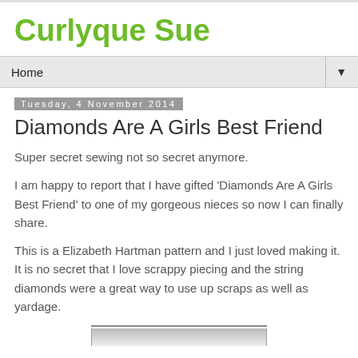Curlyque Sue
Home ▼
Tuesday, 4 November 2014
Diamonds Are A Girls Best Friend
Super secret sewing not so secret anymore.
I am happy to report that I have gifted 'Diamonds Are A Girls Best Friend' to one of my gorgeous nieces so now I can finally share.
This is a Elizabeth Hartman pattern and I just loved making it.  It is no secret that I love scrappy piecing and the string diamonds were a great way to use up scraps as well as yardage.
[Figure (photo): Partial view of a quilt photo at the bottom of the page]